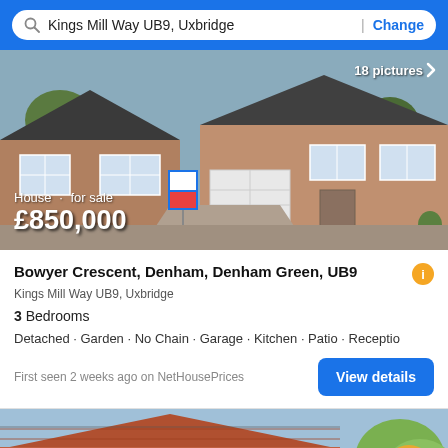Kings Mill Way UB9, Uxbridge | Change
[Figure (photo): Exterior photo of a detached brick house with garage, for sale sign, and tile roof. Overlaid text shows: House · for sale, £850,000. Top right shows: 18 pictures >]
Bowyer Crescent, Denham, Denham Green, UB9
Kings Mill Way UB9, Uxbridge
3 Bedrooms
Detached · Garden · No Chain · Garage · Kitchen · Patio · Receptio
First seen 2 weeks ago on NetHousePrices
[Figure (photo): Partial exterior photo of a second property with terracotta roof tiles, white-framed windows, and a tree visible at right edge. Filter button and up-arrow button overlaid at bottom.]